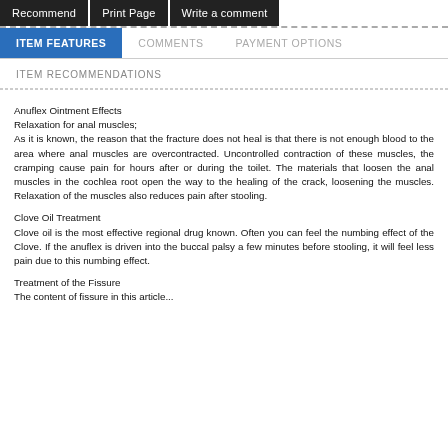Recommend  Print Page  Write a comment
ITEM FEATURES
COMMENTS
PAYMENT OPTIONS
ITEM RECOMMENDATIONS
Anuflex Ointment Effects
Relaxation for anal muscles;
As it is known, the reason that the fracture does not heal is that there is not enough blood to the area where anal muscles are overcontracted. Uncontrolled contraction of these muscles, the cramping cause pain for hours after or during the toilet. The materials that loosen the anal muscles in the cochlea root open the way to the healing of the crack, loosening the muscles. Relaxation of the muscles also reduces pain after stooling.
Clove Oil Treatment
Clove oil is the most effective regional drug known. Often you can feel the numbing effect of the Clove. If the anuflex is driven into the buccal palsy a few minutes before stooling, it will feel less pain due to this numbing effect.
Treatment of the Fissure
The content of fissure in this article...